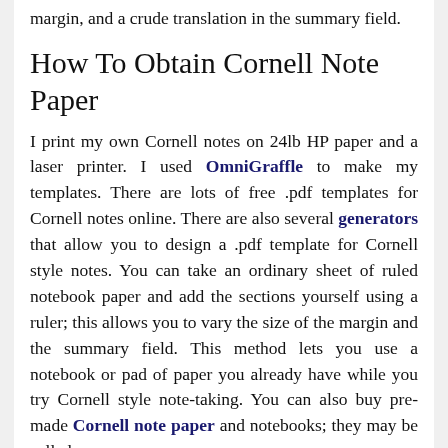margin, and a crude translation in the summary field.
How To Obtain Cornell Note Paper
I print my own Cornell notes on 24lb HP paper and a laser printer. I used OmniGraffle to make my templates. There are lots of free .pdf templates for Cornell notes online. There are also several generators that allow you to design a .pdf template for Cornell style notes. You can take an ordinary sheet of ruled notebook paper and add the sections yourself using a ruler; this allows you to vary the size of the margin and the summary field. This method lets you use a notebook or pad of paper you already have while you try Cornell style note-taking. You can also buy pre-made Cornell note paper and notebooks; they may be called